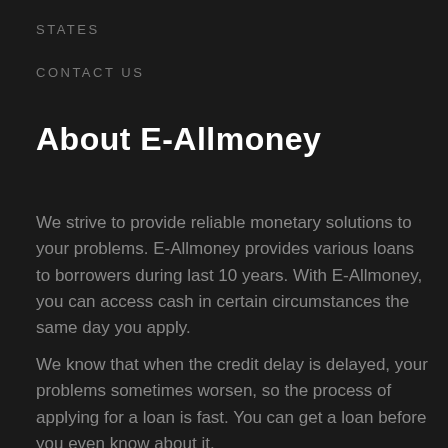STATES
CONTACT US
About E-Allmoney
We strive to provide reliable monetary solutions to your problems. E-Allmoney provides various loans to borrowers during last 10 years. With E-Allmoney, you can access cash in certain circumstances the same day you apply.
We know that when the credit delay is delayed, your problems sometimes worsen, so the process of applying for a loan is fast. You can get a loan before you even know about it.